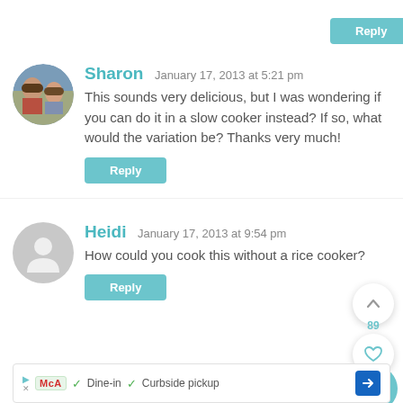Reply
[Figure (photo): Two boys photo avatar for Sharon]
Sharon   January 17, 2013 at 5:21 pm
This sounds very delicious, but I was wondering if you can do it in a slow cooker instead? If so, what would the variation be? Thanks very much!
Reply
[Figure (illustration): Gray default user avatar for Heidi]
Heidi   January 17, 2013 at 9:54 pm
How could you cook this without a rice cooker?
Reply
Dine-in   Curbside pickup